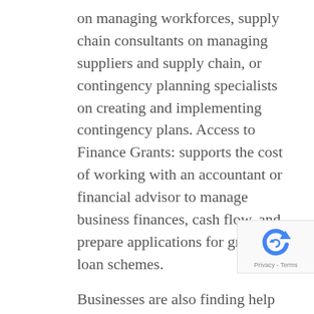on managing workforces, supply chain consultants on managing suppliers and supply chain, or contingency planning specialists on creating and implementing contingency plans. Access to Finance Grants: supports the cost of working with an accountant or financial advisor to manage business finances, cash flow, and prepare applications for grant and loan schemes.

Businesses are also finding help via the Growth Hub's dedicated coronavirus business support webpage, which has details of all the support available from the Government and other organisations. More than 3,000 businesses visited the site over the past week.
The region's economic response is being co-